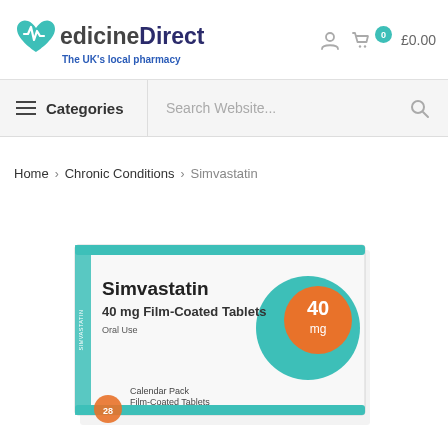[Figure (logo): Medicine Direct logo with heart/pulse icon, tagline 'The UK's local pharmacy']
£0.00
≡ Categories
Search Website...
Home > Chronic Conditions > Simvastatin
[Figure (photo): Simvastatin 40 mg Film-Coated Tablets box, Oral Use, Calendar Pack, 28 Film-Coated Tablets, with teal and orange branding]